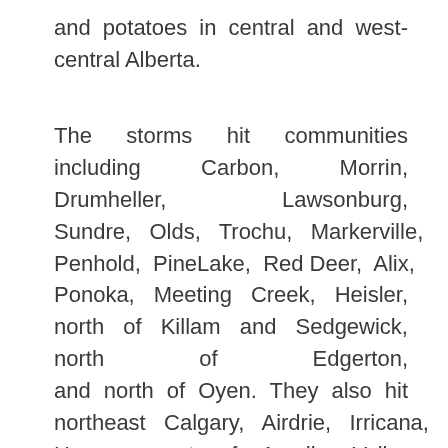and potatoes in central and west-central Alberta.
The storms hit communities including Carbon, Morrin, Drumheller, Lawsonburg, Sundre, Olds, Trochu, Markerville, Penhold, PineLake, Red Deer, Alix, Ponoka, Meeting Creek, Heisler, north of Killam and Sedgewick, north of Edgerton, and north of Oyen. They also hit northeast Calgary, Airdrie, Irricana, Hanna, west of Acadia Valley, Youngstown, Sedalia, Compeer, Donalda,